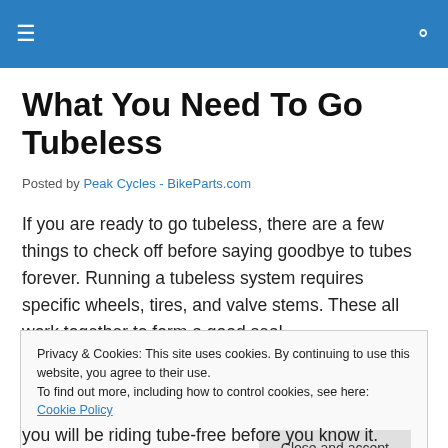What You Need To Go Tubeless
Posted by Peak Cycles - BikeParts.com
If you are ready to go tubeless, there are a few things to check off before saying goodbye to tubes forever. Running a tubeless system requires specific wheels, tires, and valve stems. These all work together to form a good seal
Privacy & Cookies: This site uses cookies. By continuing to use this website, you agree to their use.
To find out more, including how to control cookies, see here: Cookie Policy
[Close and accept]
you will be riding tube-free before you know it.